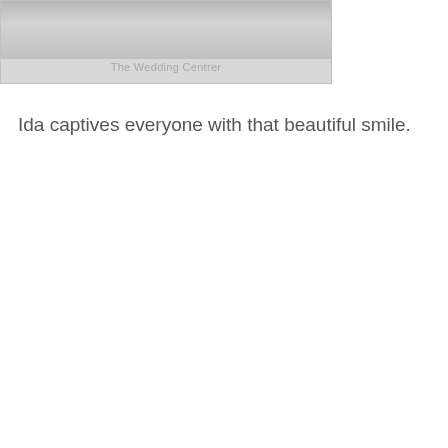[Figure (photo): A faded/washed out wedding photo with overlaid text reading 'The Wedding Centrer']
Ida captives everyone with that beautiful smile.